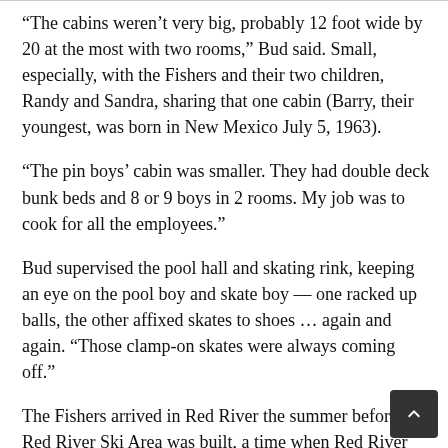“The cabins weren’t very big, probably 12 foot wide by 20 at the most with two rooms,” Bud said. Small, especially, with the Fishers and their two children, Randy and Sandra, sharing that one cabin (Barry, their youngest, was born in New Mexico July 5, 1963).
“The pin boys’ cabin was smaller. They had double deck bunk beds and 8 or 9 boys in 2 rooms. My job was to cook for all the employees.”
Bud supervised the pool hall and skating rink, keeping an eye on the pool boy and skate boy — one racked up balls, the other affixed skates to shoes … again and again. “Those clamp-on skates were always coming off.”
The Fishers arrived in Red River the summer before Red River Ski Area was built, a time when Red River was quiet and the land around the Playhouse was forest and meadow.
“The…